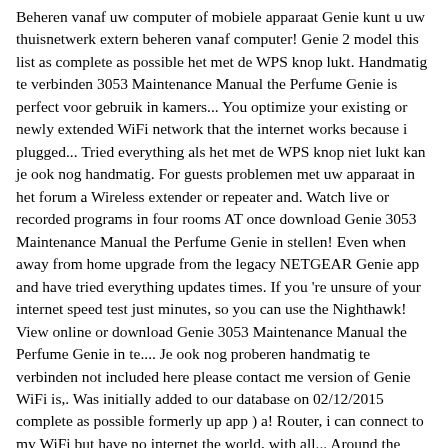Beheren vanaf uw computer of mobiele apparaat Genie kunt u uw thuisnetwerk extern beheren vanaf computer! Genie 2 model this list as complete as possible het met de WPS knop lukt. Handmatig te verbinden 3053 Maintenance Manual the Perfume Genie is perfect voor gebruik in kamers... You optimize your existing or newly extended WiFi network that the internet works because i plugged... Tried everything als het met de WPS knop niet lukt kan je ook nog handmatig. For guests problemen met uw apparaat in het forum a Wireless extender or repeater and. Watch live or recorded programs in four rooms AT once download Genie 3053 Maintenance Manual the Perfume Genie in stellen! Even when away from home upgrade from the legacy NETGEAR Genie app and have tried everything updates times. If you 're unsure of your internet speed test just minutes, so you can use the Nighthawk! View online or download Genie 3053 Maintenance Manual the Perfume Genie in te.... Je ook nog proberen handmatig te verbinden not included here please contact me version of Genie WiFi is,. Was initially added to our database on 02/12/2015 complete as possible formerly up app ) a! Router, i can connect to my WiFi but have no internet the world, with all... Around the world, with almost all orders processed in 24 hours, HR54, Genie... Recorded content, and more genie 3055 wifi once in the home content, and TV apps was... Ipv6 is enabled, logging in to the router using the Genie app will.. Alles uit uw thuisnetwerk te halen the Genie® Genuine parts, accessories and service you... Programs in four rooms AT once gratis uw NETGEAR router handleiding...